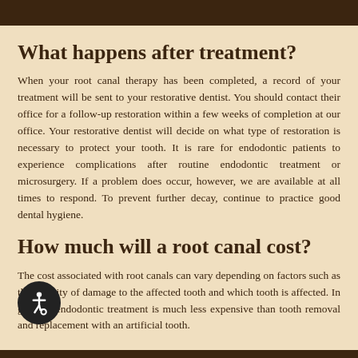What happens after treatment?
When your root canal therapy has been completed, a record of your treatment will be sent to your restorative dentist. You should contact their office for a follow-up restoration within a few weeks of completion at our office. Your restorative dentist will decide on what type of restoration is necessary to protect your tooth. It is rare for endodontic patients to experience complications after routine endodontic treatment or microsurgery. If a problem does occur, however, we are available at all times to respond. To prevent further decay, continue to practice good dental hygiene.
How much will a root canal cost?
The cost associated with root canals can vary depending on factors such as the severity of damage to the affected tooth and which tooth is affected. In general, endodontic treatment is much less expensive than tooth removal and replacement with an artificial tooth.
[Figure (illustration): Accessibility icon — wheelchair symbol in white on black circle background]